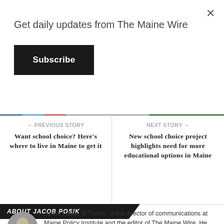Get daily updates from The Maine Wire
Subscribe
0 COMMENTS
PRINT
← PREVIOUS STORY
Want school choice? Here's where to live in Maine to get it
NEXT STORY →
New school choice project highlights need for more educational options in Maine
ABOUT JACOB POSIK
[Figure (photo): Circular headshot photo of Jacob Posik in a suit]
Jacob Posik, of Turner, is the director of communications at Maine Policy Institute and the editor of The Maine Wire. He formerly served as a policy analyst at Maine Policy. Posik can be reached at